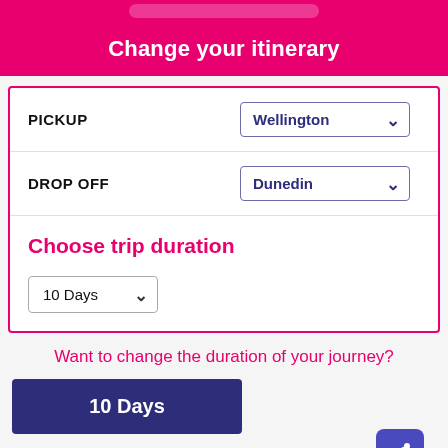Change your itinerary
PICKUP  Wellington
DROP OFF  Dunedin
Choose trip duration
10 Days
Want to change the duration of your journey?
10  Days
Wellington to Dunedi...